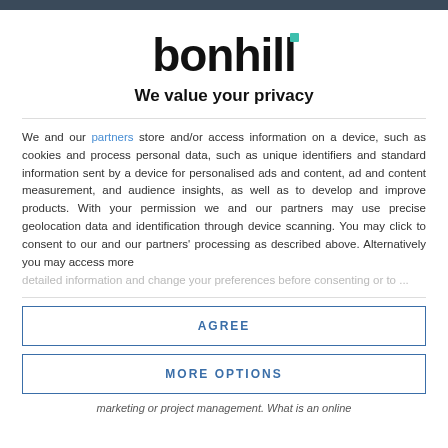[Figure (logo): Bonhill logo with teal accent square above the letter 'i']
We value your privacy
We and our partners store and/or access information on a device, such as cookies and process personal data, such as unique identifiers and standard information sent by a device for personalised ads and content, ad and content measurement, and audience insights, as well as to develop and improve products. With your permission we and our partners may use precise geolocation data and identification through device scanning. You may click to consent to our and our partners' processing as described above. Alternatively you may access more detailed information...
AGREE
MORE OPTIONS
marketing or project management. What is an online